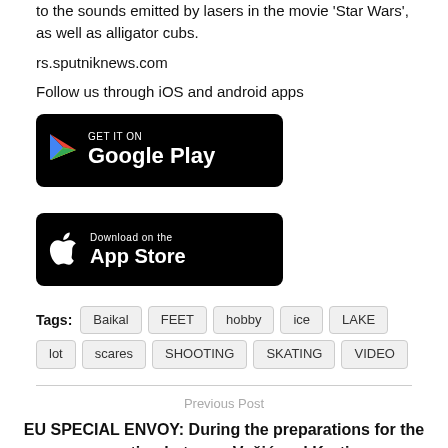to the sounds emitted by lasers in the movie 'Star Wars', as well as alligator cubs.
rs.sputniknews.com
Follow us through iOS and android apps
[Figure (logo): Google Play store badge - black rounded rectangle with GET IT ON text and Google Play logo]
[Figure (logo): Apple App Store badge - black rounded rectangle with Download on the App Store text and Apple logo]
Tags: Baikal  FEET  hobby  ice  LAKE  lot  scares  SHOOTING  SKATING  VIDEO
Previous Post
EU SPECIAL ENVOY: During the preparations for the meeting between Vučić and Kurti